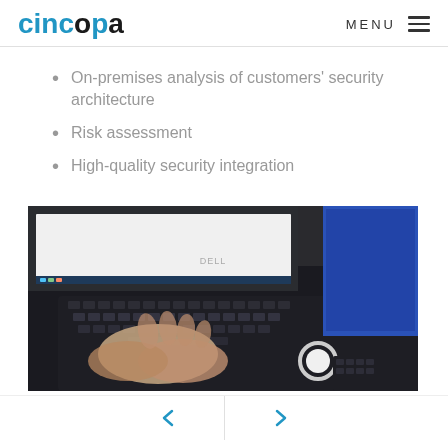cincopa   MENU
On-premises analysis of customers' security architecture
Risk assessment
High-quality security integration
[Figure (photo): Person typing on a Dell laptop keyboard, with another laptop with a blue screen visible in the background. Close-up view showing hands on keyboard.]